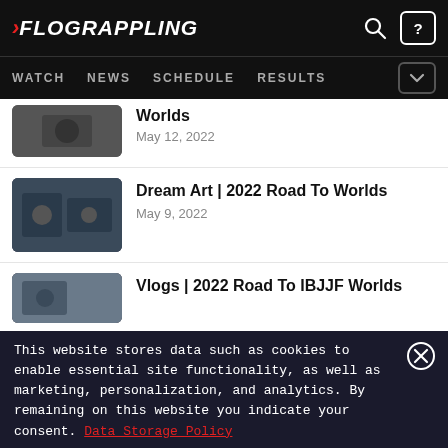FLOGRAPPLING — WATCH | NEWS | SCHEDULE | RESULTS
Worlds
May 12, 2022
Dream Art | 2022 Road To Worlds
May 9, 2022
Vlogs | 2022 Road To IBJJF Worlds
This website stores data such as cookies to enable essential site functionality, as well as marketing, personalization, and analytics. By remaining on this website you indicate your consent. Data Storage Policy